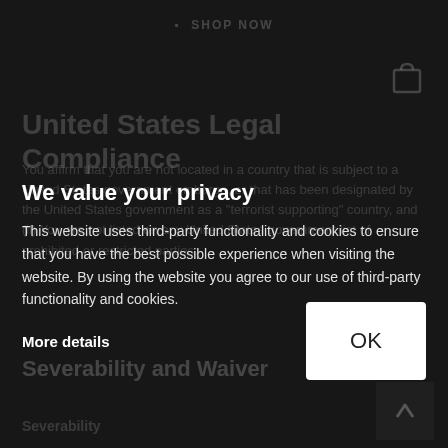SHOP NOW
United States Legal Compliance
We value your privacy
This website uses third-party functionality and cookies to ensure that you have the best possible experience when visiting the website. By using the website you agree to our use of third-party functionality and cookies.
More details
Severability and Waiver
Severability